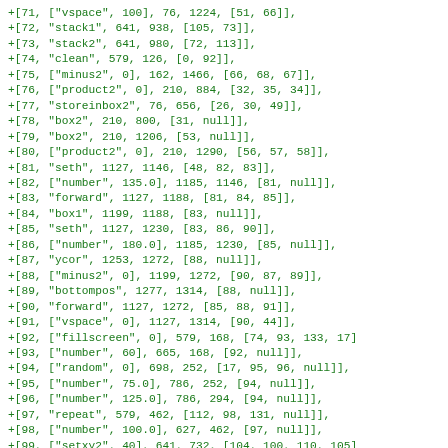+[71, ["vspace", 100], 76, 1224, [51, 66]],
+[72, "stack1", 641, 938, [105, 73]],
+[73, "stack2", 641, 980, [72, 113]],
+[74, "clean", 579, 126, [0, 92]],
+[75, ["minus2", 0], 162, 1466, [66, 68, 67]],
+[76, ["product2", 0], 210, 884, [32, 35, 34]],
+[77, "storeinbox2", 76, 656, [26, 30, 49]],
+[78, "box2", 210, 800, [31, null]],
+[79, "box2", 210, 1206, [53, null]],
+[80, ["product2", 0], 210, 1290, [56, 57, 58]],
+[81, "seth", 1127, 1146, [48, 82, 83]],
+[82, ["number", 135.0], 1185, 1146, [81, null]],
+[83, "forward", 1127, 1188, [81, 84, 85]],
+[84, "box1", 1199, 1188, [83, null]],
+[85, "seth", 1127, 1230, [83, 86, 90]],
+[86, ["number", 180.0], 1185, 1230, [85, null]],
+[87, "ycor", 1253, 1272, [88, null]],
+[88, ["minus2", 0], 1199, 1272, [90, 87, 89]],
+[89, "bottompos", 1277, 1314, [88, null]],
+[90, "forward", 1127, 1272, [85, 88, 91]],
+[91, ["vspace", 0], 1127, 1314, [90, 44]],
+[92, ["fillscreen", 0], 579, 168, [74, 93, 133, 17]
+[93, ["number", 60], 665, 168, [92, null]],
+[94, ["random", 0], 698, 252, [17, 95, 96, null]],
+[95, ["number", 75.0], 786, 252, [94, null]],
+[96, ["number", 125.0], 786, 294, [94, null]],
+[97, "repeat", 579, 462, [112, 98, 131, null]],
+[98, ["number", 100.0], 627, 462, [97, null]],
+[99, ["setxy2", 40], 641, 732, [104, 100, 110, 105]
+[100, ["random", 20], 699, 732, [99, 134, 102, null